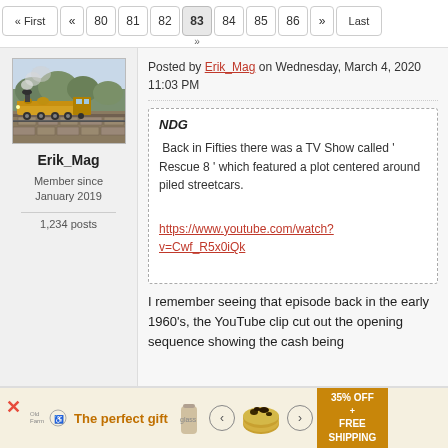« First « 80 81 82 83 84 85 86 » Last
[Figure (photo): Steam locomotive train photo used as user avatar for Erik_Mag]
Erik_Mag
Member since January 2019
1,234 posts
Posted by Erik_Mag on Wednesday, March 4, 2020 11:03 PM
NDG

 Back in Fifties there was a TV Show called ' Rescue 8 ' which featured a plot centered around piled streetcars.

https://www.youtube.com/watch?v=Cwf_R5x0iQk
I remember seeing that episode back in the early 1960's, the YouTube clip cut out the opening sequence showing the cash being